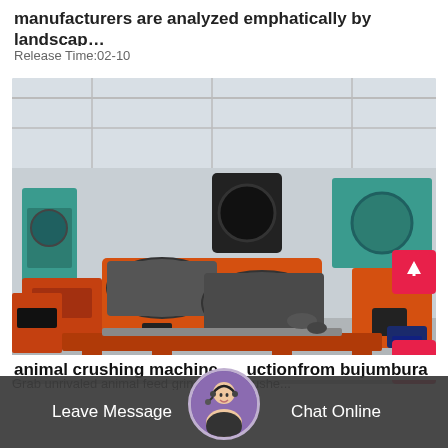manufacturers are analyzed emphatically by landscap…
Release Time:02-10
[Figure (photo): Industrial facility floor with multiple orange and teal heavy mining/crushing machines including rollers, conveyor drums, and crushers arranged in a large warehouse factory]
animal crushing machine  uctionfrom bujumbura
Leave Message   Chat Online
Grab unrivaled animal feed grinder and crushe...